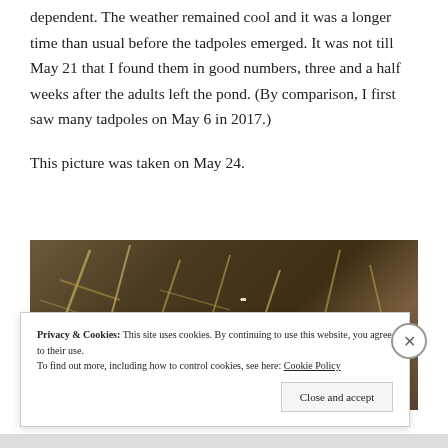dependent. The weather remained cool and it was a longer time than usual before the tadpoles emerged. It was not till May 21 that I found them in good numbers, three and a half weeks after the adults left the pond. (By comparison, I first saw many tadpoles on May 6 in 2017.)
This picture was taken on May 24.
[Figure (photo): A photograph taken on May 24 showing tadpoles in a pond with murky water, straw/plant debris, and dark tadpole shapes visible in the shallow water.]
Privacy & Cookies: This site uses cookies. By continuing to use this website, you agree to their use. To find out more, including how to control cookies, see here: Cookie Policy